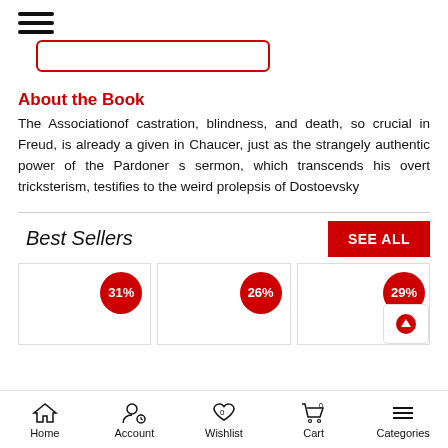Hamburger menu icon
[Figure (screenshot): Search bar input with red border, partially visible]
About the Book
The Associationof castration, blindness, and death, so crucial in Freud, is already a given in Chaucer, just as the strangely authentic power of the Pardoner s sermon, which transcends his overt tricksterism, testifies to the weird prolepsis of Dostoevsky
Best Sellers
[Figure (screenshot): Three book product cards with discount badges: 31%, 26%, 29%]
Home | Account | Wishlist | Cart | Categories